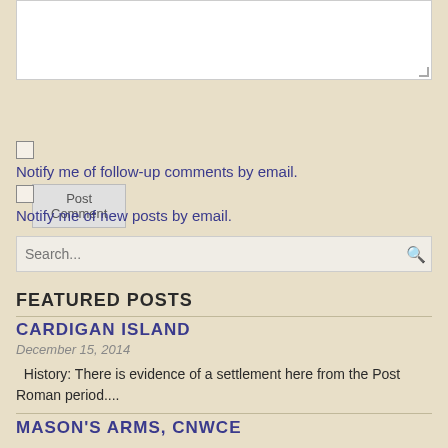[Figure (screenshot): Textarea input box for comment]
Post Comment
Notify me of follow-up comments by email.
Notify me of new posts by email.
Search...
FEATURED POSTS
CARDIGAN ISLAND
December 15, 2014
History: There is evidence of a settlement here from the Post Roman period....
MASON'S ARMS, CNWCE